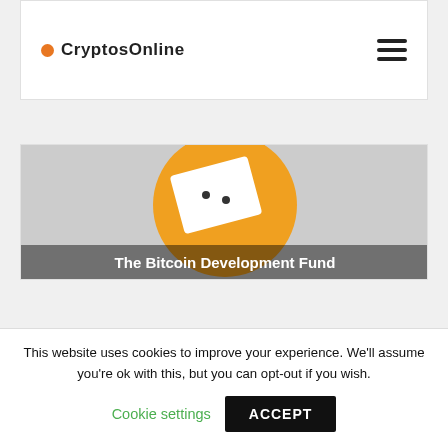CryptosOnline
[Figure (screenshot): Bitcoin Development Fund article image showing a large orange Bitcoin symbol/logo with a document overlay, partially visible title text 'The Bitcoin Development Fund']
This website uses cookies to improve your experience. We'll assume you're ok with this, but you can opt-out if you wish.
Cookie settings    ACCEPT